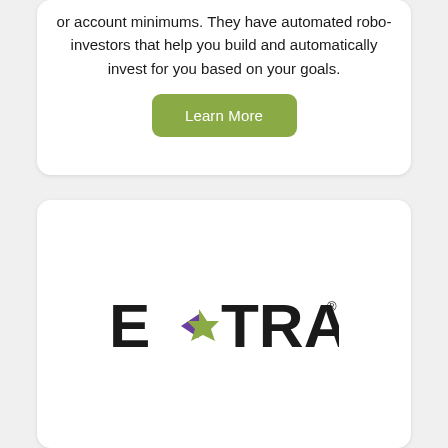or account minimums. They have automated robo-investors that help you build and automatically invest for you based on your goals.
[Figure (other): Green 'Learn More' button]
[Figure (logo): E*TRADE logo with purple and green asterisk/star icon between E and TRADE, with registered trademark symbol]